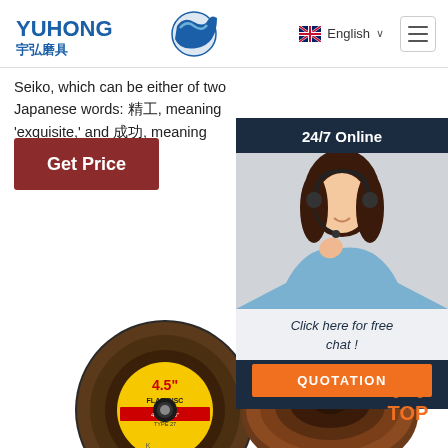[Figure (logo): Yuhong logo with blue Chinese characters and blue wave/circle icon]
Seiko, which can be either of two Japanese words: 精工, meaning 'exquisite,' and 成功, meaning 'success'
Get Price
[Figure (infographic): 24/7 Online chat widget with customer service representative photo, 'Click here for free chat!' text, and QUOTATION button]
[Figure (photo): Two abrasive flap discs - one with yellow label showing 4.5 inch size, one brown/maroon colored flap disc]
[Figure (infographic): TOP navigation button with orange dots arranged in triangle above orange TOP text]